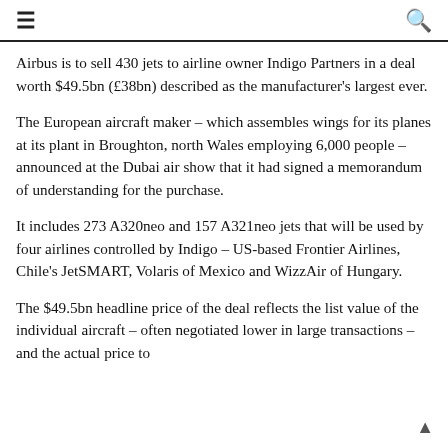≡  🔍
Airbus is to sell 430 jets to airline owner Indigo Partners in a deal worth $49.5bn (£38bn) described as the manufacturer's largest ever.
The European aircraft maker – which assembles wings for its planes at its plant in Broughton, north Wales employing 6,000 people – announced at the Dubai air show that it had signed a memorandum of understanding for the purchase.
It includes 273 A320neo and 157 A321neo jets that will be used by four airlines controlled by Indigo – US-based Frontier Airlines, Chile's JetSMART, Volaris of Mexico and WizzAir of Hungary.
The $49.5bn headline price of the deal reflects the list value of the individual aircraft – often negotiated lower in large transactions – and the actual price to